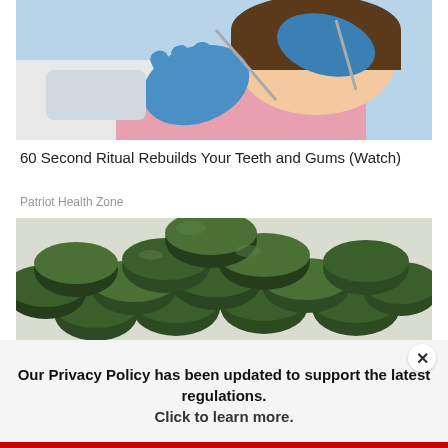[Figure (photo): Dentist wearing blue gloves using dental instruments in a patient's mouth]
60 Second Ritual Rebuilds Your Teeth and Gums (Watch)
Patriot Health Zone
[Figure (photo): Pile of dark green supplement tablets/pills on a light background]
Our Privacy Policy has been updated to support the latest regulations. Click to learn more.